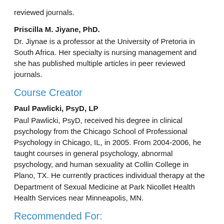reviewed journals.
Priscilla M. Jiyane, PhD.
Dr. Jiynae is a professor at the University of Pretoria in South Africa. Her specialty is nursing management and she has published multiple articles in peer reviewed journals.
Course Creator
Paul Pawlicki, PsyD, LP
Paul Pawlicki, PsyD, received his degree in clinical psychology from the Chicago School of Professional Psychology in Chicago, IL, in 2005. From 2004-2006, he taught courses in general psychology, abnormal psychology, and human sexuality at Collin College in Plano, TX. He currently practices individual therapy at the Department of Sexual Medicine at Park Nicollet Health Health Services near Minneapolis, MN.
Recommended For: